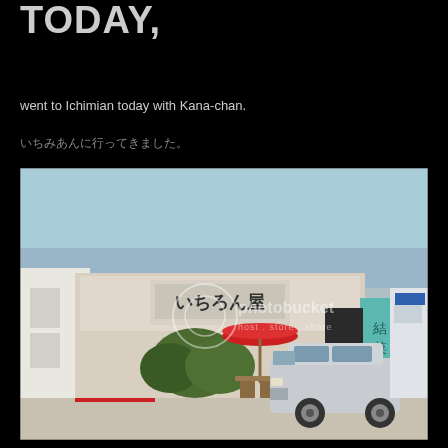TODAY,
went to Ichimian today with Kana-chan.
いちみあんに行ってきました。
[Figure (photo): Exterior photo of Ichimian restaurant with a silver SUV parked in front, red umbrella, Japanese signage, and photobucket watermark]